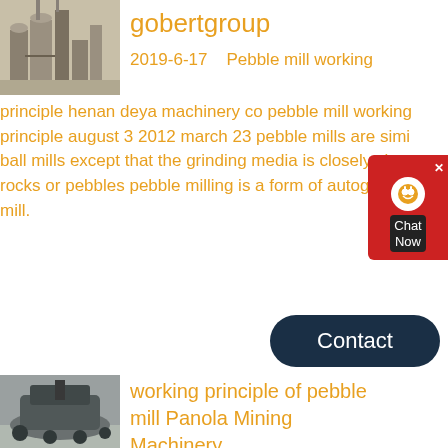[Figure (photo): Industrial cement plant or factory with silos and structures in desert/dusty environment]
gobertgroup
2019-6-17   Pebble mill working principle henan deya machinery co pebble mill working principle august 3 2012 march 23 pebble mills are similar to ball mills except that the grinding media is closely sized rocks or pebbles pebble milling is a form of autogenous mill.
[Figure (screenshot): Chat Now widget button with red background and headset icon]
[Figure (other): Contact button - dark navy rounded rectangle]
[Figure (photo): Mining machinery / crusher equipment in outdoor setting]
working principle of pebble mill Panola Mining Machinery